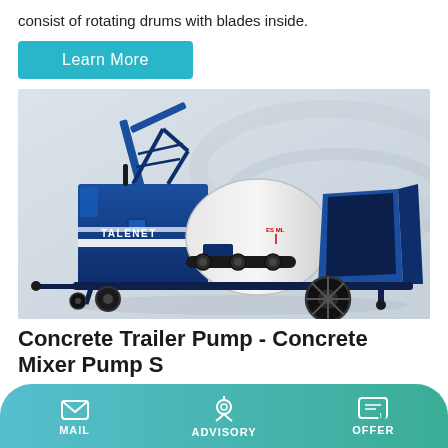consist of rotating drums with blades inside.
Learn More
[Figure (photo): Blue TALENET Concrete Trailer Pump - Concrete Mixer Pump S, a heavy industrial machine with a large white cylindrical drum, blue body, black wheels, and a hopper on the right side, shown on a light gray/white background.]
Concrete Trailer Pump - Concrete Mixer Pump S
MAIL  ADVISORY  OFFER